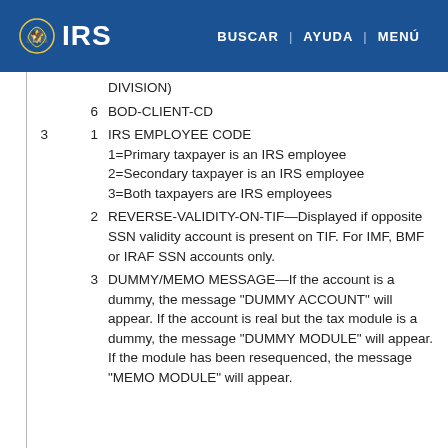IRS | BUSCAR | AYUDA | MENÚ
DIVISION)
6   BOD-CLIENT-CD
3  1  IRS EMPLOYEE CODE
1=Primary taxpayer is an IRS employee
2=Secondary taxpayer is an IRS employee
3=Both taxpayers are IRS employees
2  REVERSE-VALIDITY-ON-TIF—Displayed if opposite SSN validity account is present on TIF. For IMF, BMF or IRAF SSN accounts only.
3  DUMMY/MEMO MESSAGE—If the account is a dummy, the message "DUMMY ACCOUNT" will appear. If the account is real but the tax module is a dummy, the message "DUMMY MODULE" will appear. If the module has been resequenced, the message "MEMO MODULE" will appear.